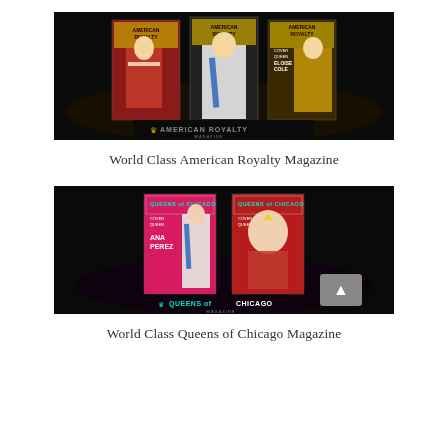[Figure (photo): American Royalty Magazine covers showing pageant queens in formal gowns with crowns and sashes, displayed on a black background with the magazine logo 'American Royalty Magazine' in gold and white text at the bottom]
World Class American Royalty Magazine
[Figure (photo): Queens of Chicago Magazine covers showing two pageant queens, one named Ana Perez, wearing crowns and sashes on a pink/magenta background, with a back-to-top arrow button in the lower right corner, and the magazine logo 'Queens of Chicago' in teal and white text at the bottom]
World Class Queens of Chicago Magazine